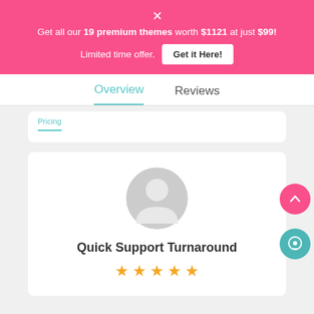Get all our 19 premium themes worth $1121 at just $99! Limited time offer. Get it Here!
Overview | Reviews
[Figure (illustration): Generic user avatar icon (grey circle with person silhouette)]
Quick Support Turnaround
★★★★★ (5 star rating)